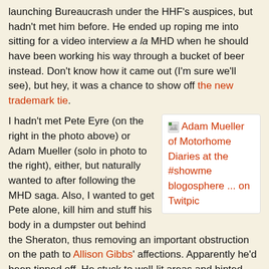...launching Bureaucrash under the HHF's auspices, but hadn't met him before. He ended up roping me into sitting for a video interview a la MHD when he should have been working his way through a bucket of beer instead. Don't know how it came out (I'm sure we'll see), but hey, it was a chance to show off the new trademark tie.
[Figure (other): Adam Mueller of Motorhome Diaries at the #showme blogosphere ... on Twitpic]
I hadn't met Pete Eyre (on the right in the photo above) or Adam Mueller (solo in photo to the right), either, but naturally wanted to after following the MHD saga. Also, I wanted to get Pete alone, kill him and stuff his body in a dumpster out behind the Sheraton, thus removing an important obstruction on the path to Allison Gibbs' affections. Apparently he'd been tipped off. He stuck to well-lit areas and hinted several times that anyone who screwed with him could expect a visit from his close friends at the Jones County, Mississippi sheriff's department.
Observation: If Jake Wagman decides to change career...